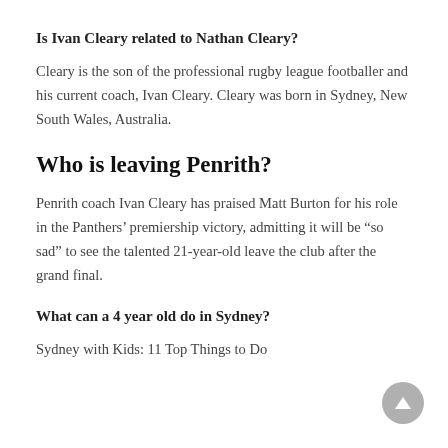Is Ivan Cleary related to Nathan Cleary?
Cleary is the son of the professional rugby league footballer and his current coach, Ivan Cleary. Cleary was born in Sydney, New South Wales, Australia.
Who is leaving Penrith?
Penrith coach Ivan Cleary has praised Matt Burton for his role in the Panthers’ premiership victory, admitting it will be “so sad” to see the talented 21-year-old leave the club after the grand final.
What can a 4 year old do in Sydney?
Sydney with Kids: 11 Top Things to Do